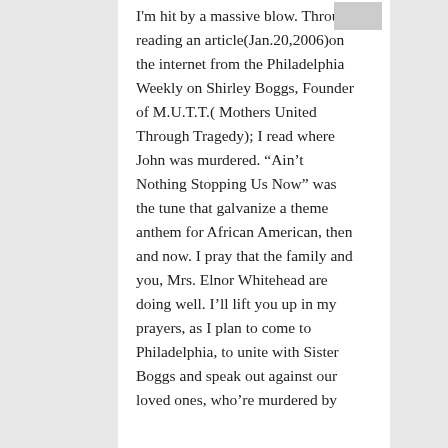I'm hit by a massive blow. Through reading an article(Jan.20,2006)on the internet from the Philadelphia Weekly on Shirley Boggs, Founder of M.U.T.T.( Mothers United Through Tragedy); I read where John was murdered. “Ain’t Nothing Stopping Us Now” was the tune that galvanize a theme anthem for African American, then and now. I pray that the family and you, Mrs. Elnor Whitehead are doing well. I’ll lift you up in my prayers, as I plan to come to Philadelphia, to unite with Sister Boggs and speak out against our loved ones, who’re murdered by
[Figure (photo): Small thumbnail image, partially visible in upper right corner of the content column]